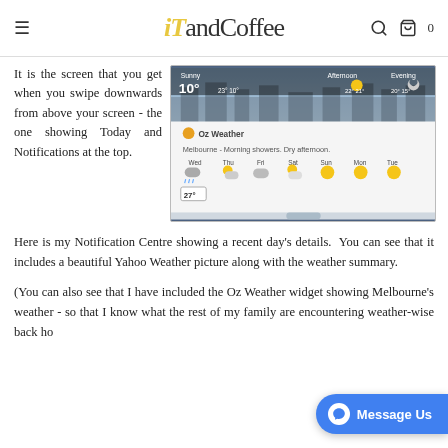iT andCoffee
It is the screen that you get when you swipe downwards from above your screen - the one showing Today and Notifications at the top.
[Figure (screenshot): Screenshot of iOS Notification Centre showing Oz Weather widget with Melbourne weather forecast: Morning showers. Dry afternoon. Wed 27°, Thu, Fri, Sat, Sun, Mon, Tue weather icons shown.]
Here is my Notification Centre showing a recent day's details.  You can see that it includes a beautiful Yahoo Weather picture along with the weather summary.
(You can also see that I have included the Oz Weather widget showing Melbourne's weather - so that I know what the rest of my family are encountering weather-wise back ho